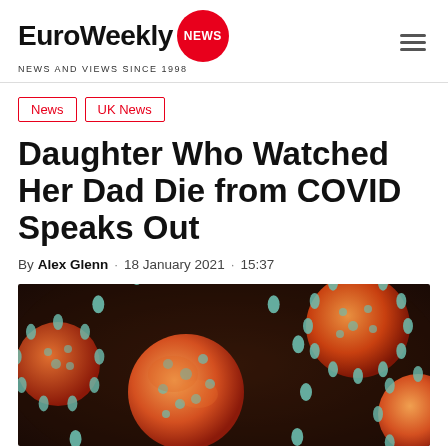EuroWeekly NEWS — NEWS AND VIEWS SINCE 1998
News
UK News
Daughter Who Watched Her Dad Die from COVID Speaks Out
By Alex Glenn · 18 January 2021 · 15:37
[Figure (photo): 3D illustration of COVID-19 coronavirus particles, showing orange/red spherical virus particles with teal spike proteins on a dark brown/maroon background]